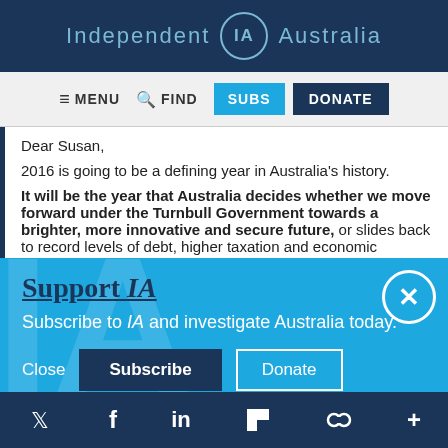Independent IA Australia
≡ MENU   🔍 FIND   SUBS   DONATE
Dear Susan,

2016 is going to be a defining year in Australia's history.

It will be the year that Australia decides whether we move forward under the Turnbull Government towards a brighter, more innovative and secure future, or slides back to record levels of debt, higher taxation and economic...
Support IA
Subscribe to IA and investigate Australia today.
Close   Subscribe   Donate
Twitter  Facebook  LinkedIn  Flipboard  Link  Plus